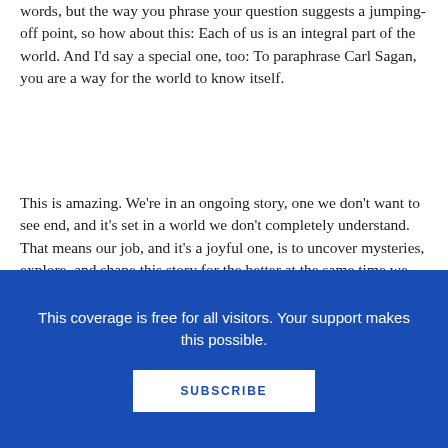words, but the way you phrase your question suggests a jumping-off point, so how about this: Each of us is an integral part of the world. And I'd say a special one, too: To paraphrase Carl Sagan, you are a way for the world to know itself.
This is amazing. We're in an ongoing story, one we don't want to see end, and it's set in a world we don't completely understand. That means our job, and it's a joyful one, is to uncover mysteries, explore, and shape this story for the better at the same time we live it.
So, how did you feel about ants before you began working on this project, and have your feelings about them changed at all as a result of it?
This coverage is free for all visitors. Your support makes this possible.
SUBSCRIBE